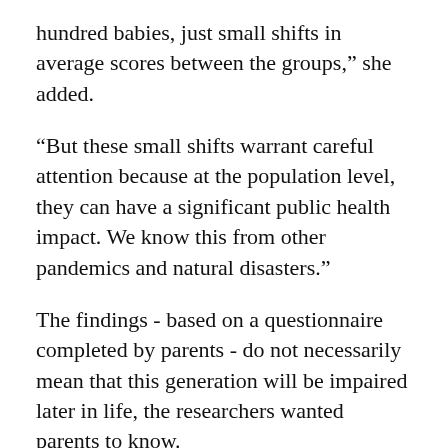hundred babies, just small shifts in average scores between the groups,” she added.
“But these small shifts warrant careful attention because at the population level, they can have a significant public health impact. We know this from other pandemics and natural disasters.”
The findings - based on a questionnaire completed by parents - do not necessarily mean that this generation will be impaired later in life, the researchers wanted parents to know.
They also suggested that fewer play dates and altered interactions with stressed caregivers